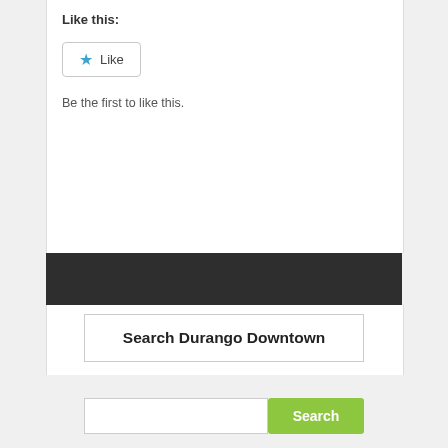Like this:
[Figure (other): Like button with blue star icon and 'Like' text, bordered rounded rectangle]
Be the first to like this.
[Figure (other): Dark charcoal horizontal navigation/header bar]
Search Durango Downtown
[Figure (other): Search input field and green Search button]